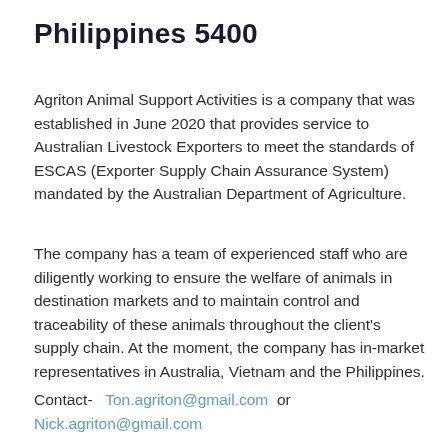Philippines 5400
Agriton Animal Support Activities is a company that was established in June 2020 that provides service to Australian Livestock Exporters to meet the standards of ESCAS (Exporter Supply Chain Assurance System) mandated by the Australian Department of Agriculture.
The company has a team of experienced staff who are diligently working to ensure the welfare of animals in destination markets and to maintain control and traceability of these animals throughout the client's supply chain. At the moment, the company has in-market representatives in Australia, Vietnam and the Philippines.
Contact-   Ton.agriton@gmail.com  or  Nick.agriton@gmail.com